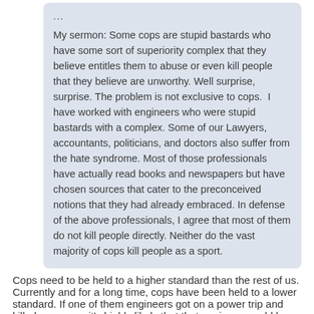...
My sermon: Some cops are stupid bastards who have some sort of superiority complex that they believe entitles them to abuse or even kill people that they believe are unworthy. Well surprise, surprise. The problem is not exclusive to cops.  I have worked with engineers who were stupid bastards with a complex. Some of our Lawyers, accountants, politicians, and doctors also suffer from the hate syndrome. Most of those professionals have actually read books and newspapers but have  chosen sources that cater to the preconceived notions that they had already embraced. In defense of the above professionals, I agree that most of them do not kill people directly. Neither do the vast majority of cops kill people as a sport.
Cops need to be held to a higher standard than the rest of us. Currently and for a long time, cops have been held to a lower standard. If one of them engineers got on a power trip and killed someone, it's highly likely that that engineer would be subject to consequences. Not so much for cops, it's about the opposite. Cops that have killed people while on a power trip have rarely faced consequences, and those that did, it's even rarer that they will lose their job.